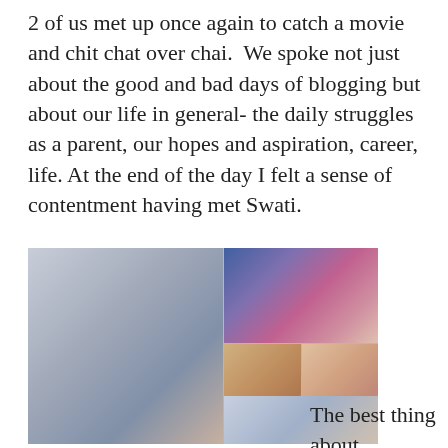2 of us met up once again to catch a movie and chit chat over chai.  We spoke not just about the good and bad days of blogging but about our life in general- the daily struggles as a parent, our hopes and aspiration, career, life. At the end of the day I felt a sense of contentment having met Swati.
[Figure (photo): A collage of multiple photos showing groups of women, including selfies and posed photos, with colorful balloons (pink, purple, blue) visible in the background of one image.]
The best thing about